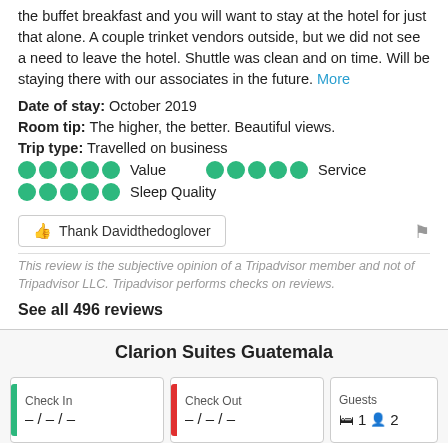the buffet breakfast and you will want to stay at the hotel for just that alone. A couple trinket vendors outside, but we did not see a need to leave the hotel. Shuttle was clean and on time. Will be staying there with our associates in the future. More
Date of stay: October 2019
Room tip: The higher, the better. Beautiful views.
Trip type: Travelled on business
Value   Service   Sleep Quality
Thank Davidthedoglover
This review is the subjective opinion of a Tripadvisor member and not of Tripadvisor LLC. Tripadvisor performs checks on reviews.
See all 496 reviews
Clarion Suites Guatemala
Check In – / – / –
Check Out – / – / –
Guests 1 2